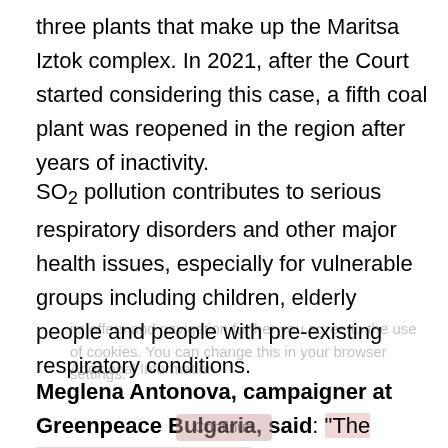three plants that make up the Maritsa Iztok complex. In 2021, after the Court started considering this case, a fifth coal plant was reopened in the region after years of inactivity.
SO₂ pollution contributes to serious respiratory disorders and other major health issues, especially for vulnerable groups including children, elderly people and people with pre-existing respiratory conditions.
Meglena Antonova, campaigner at Greenpeace Bulgaria, said: "The decision is a breath of fresh air for the people living in the region. Toxic sulphur dioxide pollution caused by coal burning has to